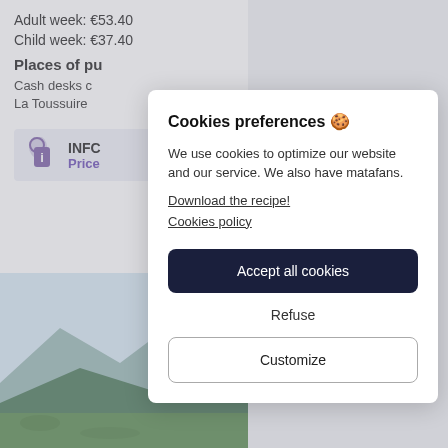Adult week: €53.40
Child week: €37.40
Places of pu
Cash desks c
La Toussuire
INFC
Price
[Figure (photo): Outdoor landscape photo showing mountains and green hillside, partially visible behind the modal dialog]
Cookies preferences 🍪
We use cookies to optimize our website and our service. We also have matafans.
Download the recipe!
Cookies policy
Accept all cookies
Refuse
Customize